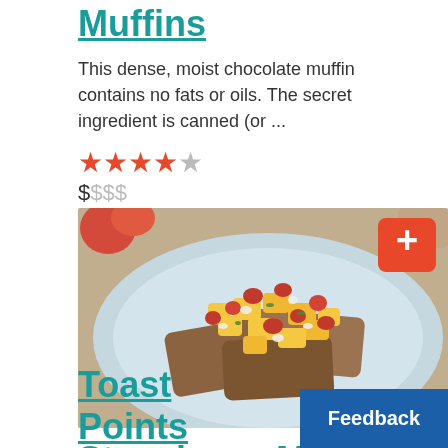Muffins
This dense, moist chocolate muffin contains no fats or oils. The secret ingredient is canned (or ...
★★★★☆ (4 out of 5 stars)
$$$$
[Figure (photo): A blue plate with bruschetta topped with diced mango, strawberries, and white cheese crumbles, with a red plus button in the top right corner. Background shows apples and a woven mat.]
Strawberry Mango Toast Points